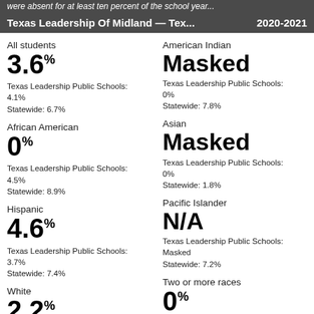were absent for at least ten percent of the school year...
Texas Leadership Of Midland — Tex...  2020-2021